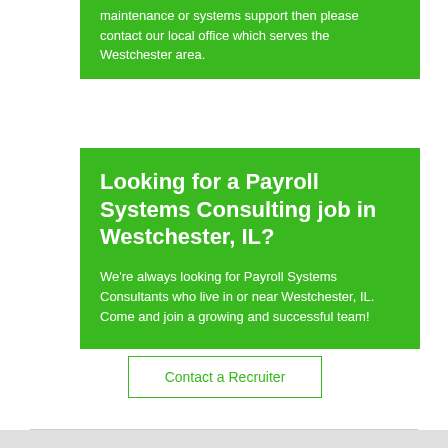maintenance or systems support then please contact our local office which serves the Westchester area.
Looking for a Payroll Systems Consulting job in Westchester, IL?
We're always looking for Payroll Systems Consultants who live in or near Westchester, IL. Come and join a growing and successful team!
Contact a Recruiter